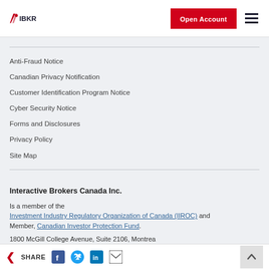IBKR – Open Account
Anti-Fraud Notice
Canadian Privacy Notification
Customer Identification Program Notice
Cyber Security Notice
Forms and Disclosures
Privacy Policy
Site Map
Interactive Brokers Canada Inc.
Is a member of the Investment Industry Regulatory Organization of Canada (IIROC) and Member, Canadian Investor Protection Fund.
1800 McGill College Avenue, Suite 2106, Montreal, Quebec, H3A 3J6, Canada.
SHARE